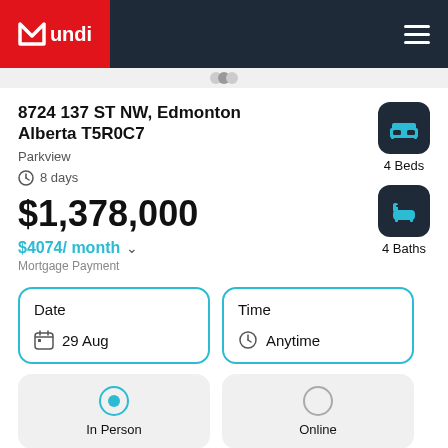Mundi
8724 137 ST NW, Edmonton Alberta T5R0C7
Parkview
8 days
$1,378,000
$4074/ month
Mortgage Payment
4 Beds
4 Baths
Date
29 Aug
Time
Anytime
In Person
Online